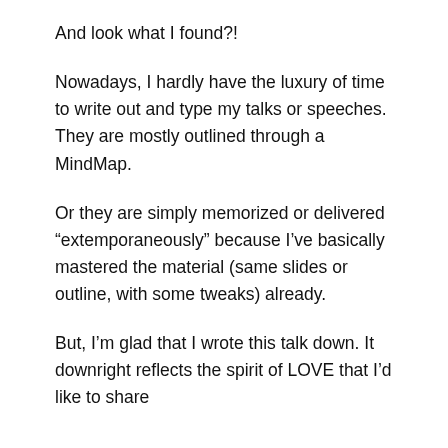And look what I found?!
Nowadays, I hardly have the luxury of time to write out and type my talks or speeches. They are mostly outlined through a MindMap.
Or they are simply memorized or delivered “extemporaneously” because I’ve basically mastered the material (same slides or outline, with some tweaks) already.
But, I’m glad that I wrote this talk down. It downright reflects the spirit of LOVE that I’d like to share